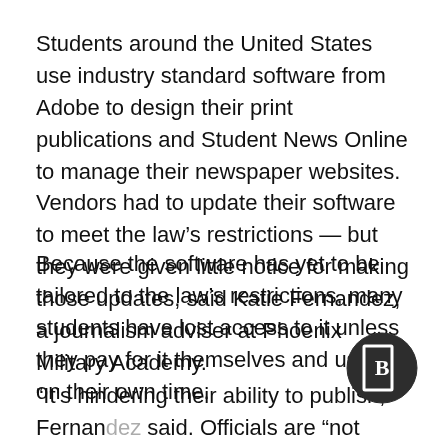Students around the United States use industry standard software from Adobe to design their print publications and Student News Online to manage their newspaper websites. Vendors had to update their software to meet the law's restrictions — but they were given little notice for making those updates, said Katie Fernandez, a journalism adviser at Phoenix Military Academy.
Because the software has yet to be tailored to the law's restrictions, many students have lost access to it unless they pay for it themselves and use it on their own time.
“It’s hindering their ability to publish,” Fernandez said. Officials are “not saying we can’t publish, but